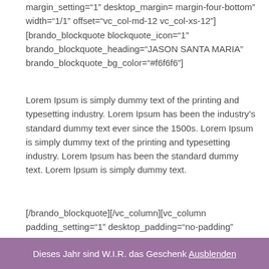margin_setting="1" desktop_margin= margin-four-bottom" width="1/1" offset="vc_col-md-12 vc_col-xs-12"][brando_blockquote blockquote_icon="1" brando_blockquote_heading="JASON SANTA MARIA" brando_blockquote_bg_color="#f6f6f6"]
Lorem Ipsum is simply dummy text of the printing and typesetting industry. Lorem Ipsum has been the industry's standard dummy text ever since the 1500s. Lorem Ipsum is simply dummy text of the printing and typesetting industry. Lorem Ipsum has been the standard dummy text. Lorem Ipsum is simply dummy text.
[/brando_blockquote][/vc_column][vc_column padding_setting="1" desktop_padding="no-padding" margin_setting="1" desktop_margin="margin-one-bottom" width="1/1" offset="vc_col-md-12 vc_col-xs-12"][vc_column_text]Lorem Ipsum is simply dummy
Dieses Jahr sind W.I.R. das Geschenk Ausblenden